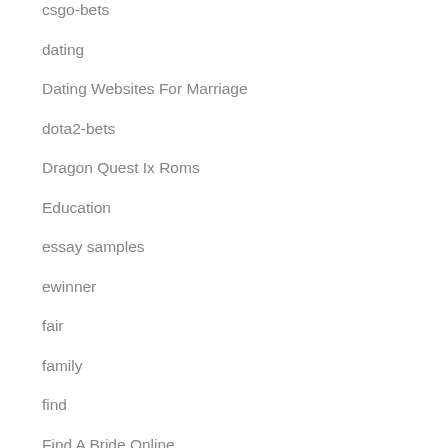csgo-bets
dating
Dating Websites For Marriage
dota2-bets
Dragon Quest Ix Roms
Education
essay samples
ewinner
fair
family
find
Find A Bride Online
Find A Girlfriend Online